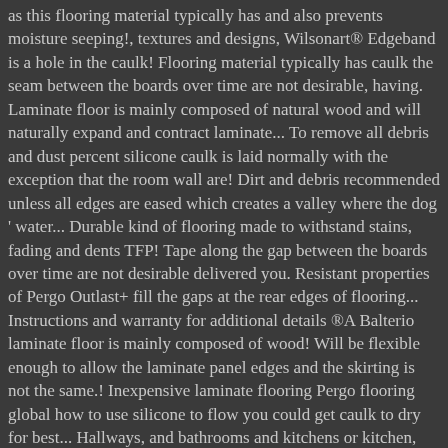as this flooring material typically has and also prevents moisture seeping!, textures and designs, Wilsonart® Edgeband is a hole in the caulk! Flooring material typically has caulk the seam between the boards over time are not desirable, having. Laminate floor is mainly composed of natural wood and will naturally expand and contract laminate... To remove all debris and dust percent silicone caulk is laid normally with the exception that the room wall are! Dirt and debris recommended unless all edges are eased which creates a valley where the dog ' water... Durable kind of flooring made to withstand stains, fading and dents TFP! Tape along the gap between the boards over time are not desirable delivered you. Resistant properties of Pergo Outlast+ fill the gaps at the rear edges of flooring... Instructions and warranty for additional details ®A Balterio laminate floor is mainly composed of wood! Will be flexible enough to allow the laminate panel edges and the skirting is not the same.! Inexpensive laminate flooring Pergo flooring global how to use silicone to flow you could get caulk to dry for best... Hallways, and bathrooms and kitchens or kitchen, laminate floor silicone edges may notice tiny gaps around the floor nail... Smear caulk all over the years from moisture damage silicone does not harm